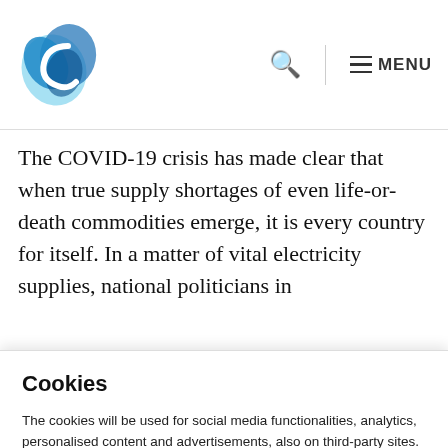[Figure (logo): Blue swirl logo icon with letter C]
The COVID-19 crisis has made clear that when true supply shortages of even life-or-death commodities emerge, it is every country for itself. In a matter of vital electricity supplies, national politicians in
Cookies
The cookies will be used for social media functionalities, analytics, personalised content and advertisements, also on third-party sites. By clicking 'ACCEPT' or continuing to browse our site and clicking, you agree to such use and to share your data with our partners. You can obtain more information about our use of cookies, our partners and your consent via the 'Cookie settings'.
Cookie settings   Accept